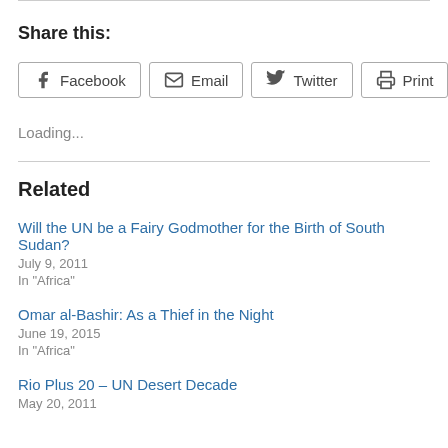Share this:
Facebook  Email  Twitter  Print
Loading...
Related
Will the UN be a Fairy Godmother for the Birth of South Sudan?
July 9, 2011
In "Africa"
Omar al-Bashir: As a Thief in the Night
June 19, 2015
In "Africa"
Rio Plus 20 – UN Desert Decade
May 20, 2011